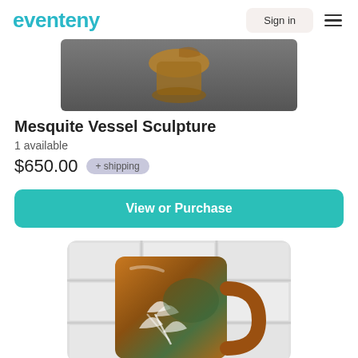eventeny  Sign in
[Figure (photo): Top-down photo of a ceramic mesquite vessel sculpture on a dark gray stone background]
Mesquite Vessel Sculpture
1 available
$650.00  + shipping
View or Purchase
[Figure (photo): Photo of a brown and green glazed ceramic mug with leaf/floral carved decoration, against a white tile background]